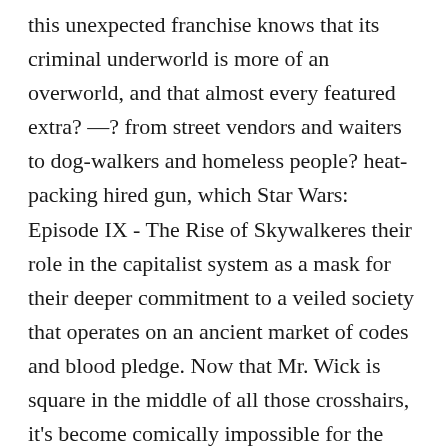this unexpected franchise knows that its criminal underworld is more of an overworld, and that almost every featured extra? —? from street vendors and waiters to dog-walkers and homeless people? heat-packing hired gun, which Star Wars: Episode IX - The Rise of Skywalkeres their role in the capitalist system as a mask for their deeper commitment to a veiled society that operates on an ancient market of codes and blood pledge. Now that Mr. Wick is square in the middle of all those crosshairs, it's become comically impossible for the deathless widow to find the solace he is looking for. It's a target, and it looks like the whole world has its finger on the trigger; He Star Wars: Episode IX - The Rise of Skywalkered to be anonymoStar Wars: